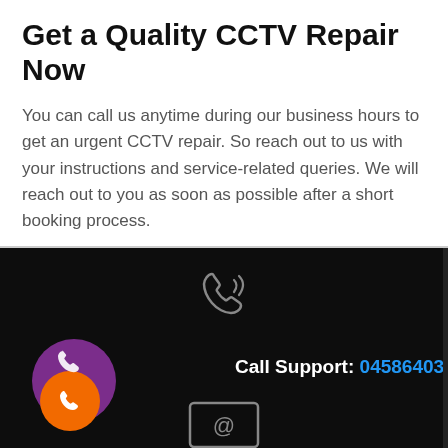Get a Quality CCTV Repair Now
You can call us anytime during our business hours to get an urgent CCTV repair. So reach out to us with your instructions and service-related queries. We will reach out to you as soon as possible after a short booking process.
[Figure (illustration): Dark background section with a grey outline telephone/phone icon at top center, an orange circle with white phone icon at bottom left overlapping a purple circle, and a partial envelope/email icon at bottom center. Text reads 'Call Support: 045864031' with the number in blue.]
Call Support: 045864031